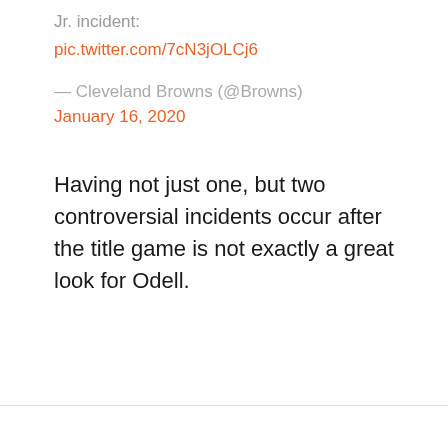Jr. incident:
pic.twitter.com/7cN3jOLCj6
— Cleveland Browns (@Browns) January 16, 2020
Having not just one, but two controversial incidents occur after the title game is not exactly a great look for Odell.